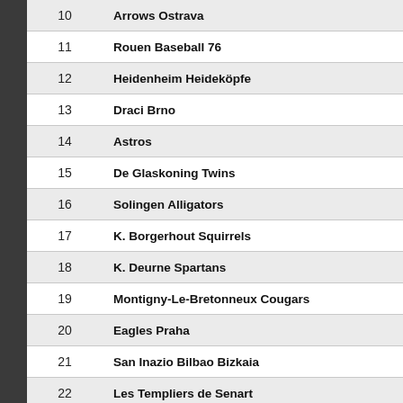| # | Team |
| --- | --- |
| 10 | Arrows Ostrava |
| 11 | Rouen Baseball 76 |
| 12 | Heidenheim Heideköpfe |
| 13 | Draci Brno |
| 14 | Astros |
| 15 | De Glaskoning Twins |
| 16 | Solingen Alligators |
| 17 | K. Borgerhout Squirrels |
| 18 | K. Deurne Spartans |
| 19 | Montigny-Le-Bretonneux Cougars |
| 20 | Eagles Praha |
| 21 | San Inazio Bilbao Bizkaia |
| 22 | Les Templiers de Senart |
| 23 | BC Minsk |
| 24 | Olimpija Karlovac |
| 25 | Leksands Lumberjacks BSK |
| 26 | London Mets |
| 27 | Vienna Metrostars |